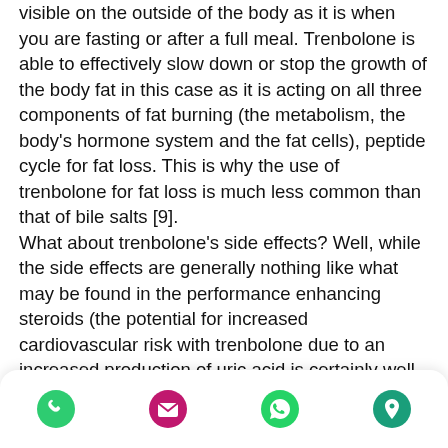visible on the outside of the body as it is when you are fasting or after a full meal. Trenbolone is able to effectively slow down or stop the growth of the body fat in this case as it is acting on all three components of fat burning (the metabolism, the body's hormone system and the fat cells), peptide cycle for fat loss. This is why the use of trenbolone for fat loss is much less common than that of bile salts [9].
What about trenbolone's side effects? Well, while the side effects are generally nothing like what may be found in the performance enhancing steroids (the potential for increased cardiovascular risk with trenbolone due to an increased production of uric acid is certainly well known but is also a rather small issue), there are some mild side effects [10], peptide cycle for fat loss. These include:
n·
b·
appetite.
[Figure (other): Mobile app toolbar with phone, email, WhatsApp, and location icons]